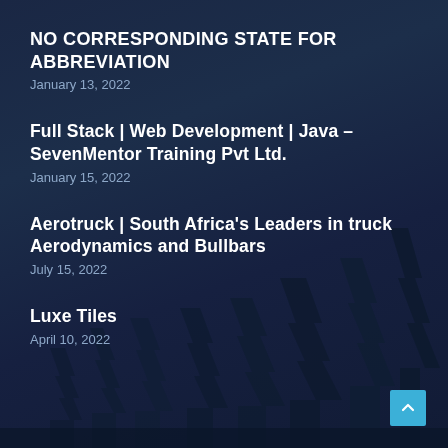NO CORRESPONDING STATE FOR ABBREVIATION
January 13, 2022
Full Stack | Web Development | Java – SevenMentor Training Pvt Ltd.
January 15, 2022
Aerotruck | South Africa's Leaders in truck Aerodynamics and Bullbars
July 15, 2022
Luxe Tiles
April 10, 2022